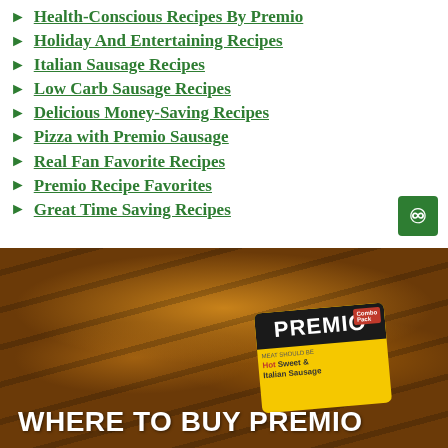Health-Conscious Recipes By Premio
Holiday And Entertaining Recipes
Italian Sausage Recipes
Low Carb Sausage Recipes
Delicious Money-Saving Recipes
Pizza with Premio Sausage
Real Fan Favorite Recipes
Premio Recipe Favorites
Great Time Saving Recipes
[Figure (photo): Close-up photo of grilled Premio sausages in a yellow tray package with Premio branding, with text 'WHERE TO BUY PREMIO' overlaid at the bottom]
WHERE TO BUY PREMIO